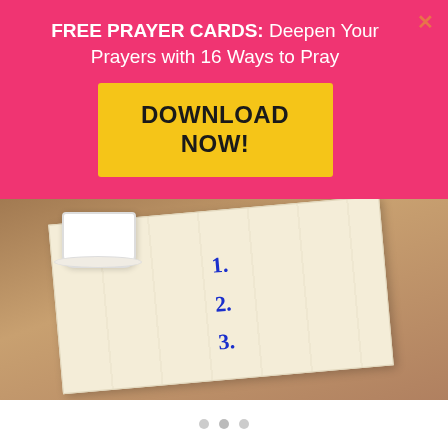FREE PRAYER CARDS: Deepen Your Prayers with 16 Ways to Pray
DOWNLOAD NOW!
[Figure (photo): Photo of a white cloth napkin on a wooden table with a white cup/bowl in the background. The napkin has handwritten blue numbers 1., 2., 3. on it.]